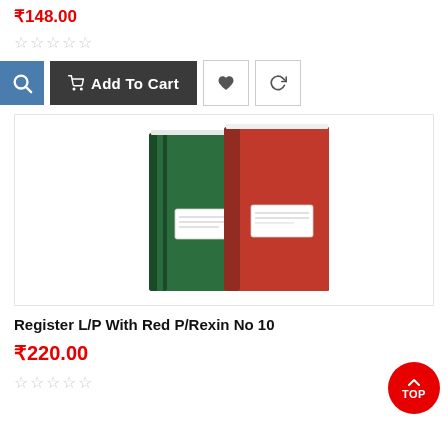₹148.00
☆☆☆☆☆
Add To Cart
[Figure (photo): Two hardcover registers side by side — a green one on the left and a red one on the right, both with white label stickers on the cover.]
Register L/P With Red P/Rexin No 10
₹220.00
☆☆☆☆☆